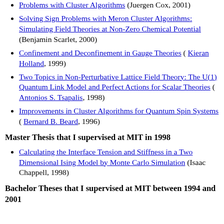Problems with Cluster Algorithms (Juergen Cox, 2001)
Solving Sign Problems with Meron Cluster Algorithms: Simulating Field Theories at Non-Zero Chemical Potential (Benjamin Scarlet, 2000)
Confinement and Deconfinement in Gauge Theories ( Kieran Holland, 1999)
Two Topics in Non-Perturbative Lattice Field Theory: The U(1) Quantum Link Model and Perfect Actions for Scalar Theories ( Antonios S. Tsapalis, 1998)
Improvements in Cluster Algorithms for Quantum Spin Systems ( Bernard B. Beard, 1996)
Master Thesis that I supervised at MIT in 1998
Calculating the Interface Tension and Stiffness in a Two Dimensional Ising Model by Monte Carlo Simulation (Isaac Chappell, 1998)
Bachelor Theses that I supervised at MIT between 1994 and 2001